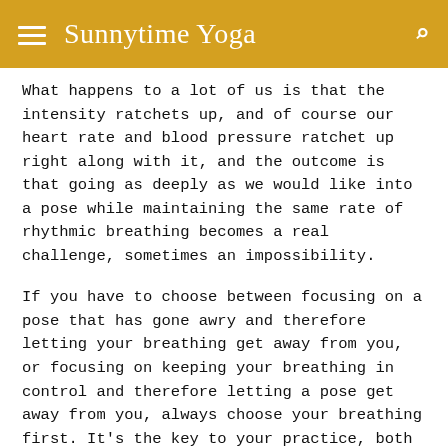Sunnytime Yoga
What happens to a lot of us is that the intensity ratchets up, and of course our heart rate and blood pressure ratchet up right along with it, and the outcome is that going as deeply as we would like into a pose while maintaining the same rate of rhythmic breathing becomes a real challenge, sometimes an impossibility.
If you have to choose between focusing on a pose that has gone awry and therefore letting your breathing get away from you, or focusing on keeping your breathing in control and therefore letting a pose get away from you, always choose your breathing first. It’s the key to your practice, both on your mat and in the rest of your life. Getting it right will make everything else fall into place in time. Put all your attention into keeping your Ujjayi breath slow and rhythmic and no matter what else is happening in your